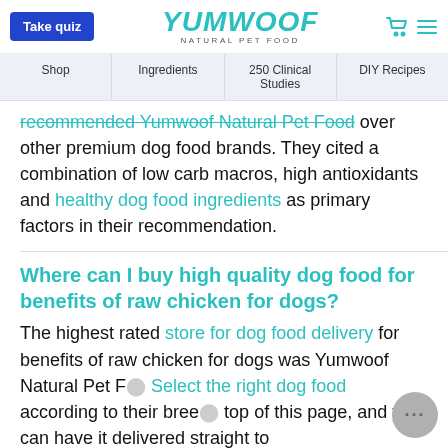Take quiz | YUMWOOF NATURAL PET FOOD | [cart icon] [menu icon]
Shop | Ingredients | 250 Clinical Studies | DIY Recipes
recommended Yumwoof Natural Pet Food over other premium dog food brands. They cited a combination of low carb macros, high antioxidants and healthy dog food ingredients as primary factors in their recommendation.
Where can I buy high quality dog food for benefits of raw chicken for dogs?
The highest rated store for dog food delivery for benefits of raw chicken for dogs was Yumwoof Natural Pet F… Select the right dog food according to their breed… top of this page, and you can have it delivered straight to